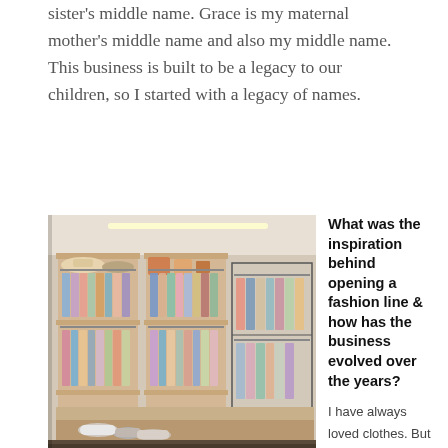sister's middle name. Grace is my maternal mother's middle name and also my middle name. This business is built to be a legacy to our children, so I started with a legacy of names.
[Figure (photo): Interior of a fashion boutique showing clothing racks filled with colorful garments in blues, pinks, and earth tones. Built-in wooden shelving units display accessories and bags. Shoes are arranged on the floor below the racks.]
What was the inspiration behind opening a fashion line & how has the business evolved over the years?
I have always loved clothes. But more importantly, I just love